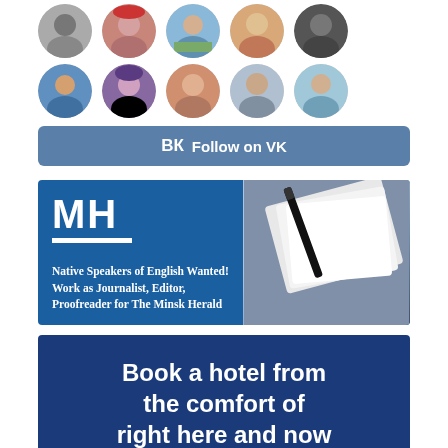[Figure (illustration): Two rows of circular profile avatar photos, 5 per row, showing various people]
[Figure (illustration): VK Follow button with VK logo and text 'Follow on VK' on a steel-blue background]
[Figure (illustration): MH (Minsk Herald) advertisement banner: dark blue background with 'MH' logo, white underline, and text 'Native Speakers of English Wanted! Work as Journalist, Editor, Proofreader for The Minsk Herald', with notebook/pen photo on right]
[Figure (illustration): Hotel booking advertisement: dark navy blue background with white bold text 'Book a hotel from the comfort of right here and now']